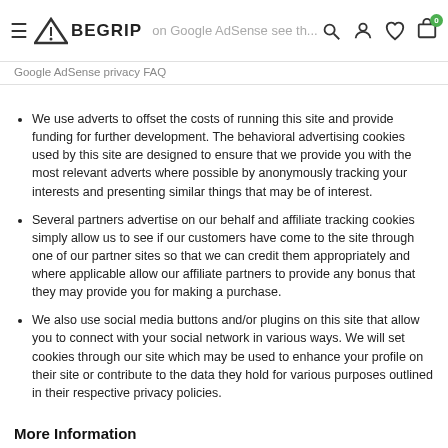BEGRIP — navigation bar with logo, search, account, wishlist, cart icons
information on Google AdSense see the Google AdSense privacy FAQ
We use adverts to offset the costs of running this site and provide funding for further development. The behavioral advertising cookies used by this site are designed to ensure that we provide you with the most relevant adverts where possible by anonymously tracking your interests and presenting similar things that may be of interest.
Several partners advertise on our behalf and affiliate tracking cookies simply allow us to see if our customers have come to the site through one of our partner sites so that we can credit them appropriately and where applicable allow our affiliate partners to provide any bonus that they may provide you for making a purchase.
We also use social media buttons and/or plugins on this site that allow you to connect with your social network in various ways. We will set cookies through our site which may be used to enhance your profile on their site or contribute to the data they hold for various purposes outlined in their respective privacy policies.
More Information